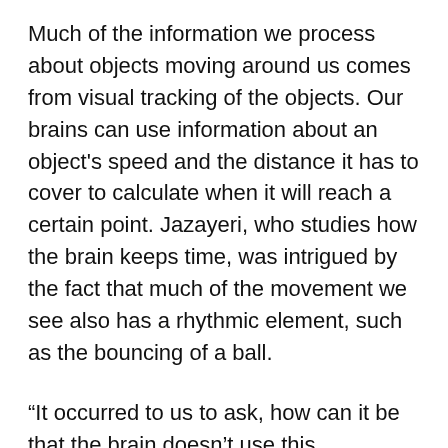Much of the information we process about objects moving around us comes from visual tracking of the objects. Our brains can use information about an object's speed and the distance it has to cover to calculate when it will reach a certain point. Jazayeri, who studies how the brain keeps time, was intrigued by the fact that much of the movement we see also has a rhythmic element, such as the bouncing of a ball.
“It occurred to us to ask, how can it be that the brain doesn’t use this information? It would seem very strange if all this richness of additional temporal structure is not part of the way we evaluate where things are around us and how things are going to happen,” Jazayeri says.